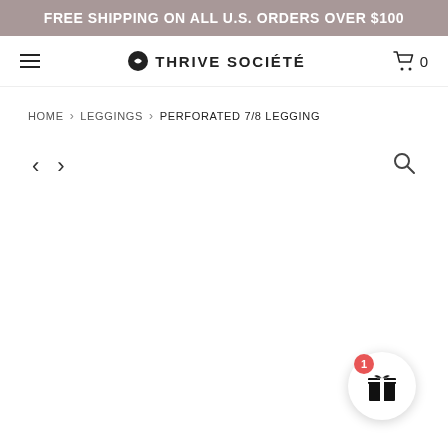FREE SHIPPING ON ALL U.S. ORDERS OVER $100
[Figure (logo): Thrive Société brand logo with hamburger menu and cart icon showing 0 items]
HOME > LEGGINGS > PERFORATED 7/8 LEGGING
[Figure (screenshot): Image navigation area with left and right arrow buttons and a zoom/search icon on the right]
[Figure (illustration): Gift box widget with a red badge showing number 1, circular white button at bottom right]